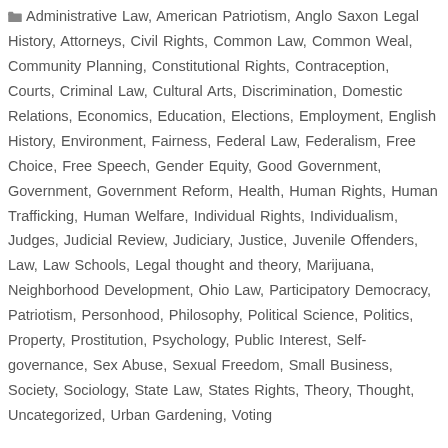Administrative Law, American Patriotism, Anglo Saxon Legal History, Attorneys, Civil Rights, Common Law, Common Weal, Community Planning, Constitutional Rights, Contraception, Courts, Criminal Law, Cultural Arts, Discrimination, Domestic Relations, Economics, Education, Elections, Employment, English History, Environment, Fairness, Federal Law, Federalism, Free Choice, Free Speech, Gender Equity, Good Government, Government, Government Reform, Health, Human Rights, Human Trafficking, Human Welfare, Individual Rights, Individualism, Judges, Judicial Review, Judiciary, Justice, Juvenile Offenders, Law, Law Schools, Legal thought and theory, Marijuana, Neighborhood Development, Ohio Law, Participatory Democracy, Patriotism, Personhood, Philosophy, Political Science, Politics, Property, Prostitution, Psychology, Public Interest, Self-governance, Sex Abuse, Sexual Freedom, Small Business, Society, Sociology, State Law, States Rights, Theory, Thought, Uncategorized, Urban Gardening, Voting